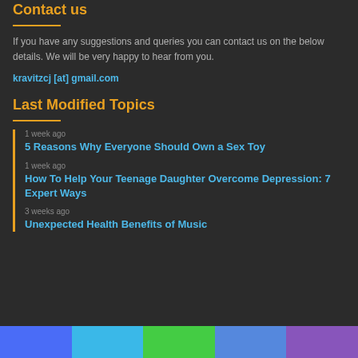Contact us
If you have any suggestions and queries you can contact us on the below details. We will be very happy to hear from you.
kravitzcj [at] gmail.com
Last Modified Topics
1 week ago
5 Reasons Why Everyone Should Own a Sex Toy
1 week ago
How To Help Your Teenage Daughter Overcome Depression: 7 Expert Ways
3 weeks ago
Unexpected Health Benefits of Music